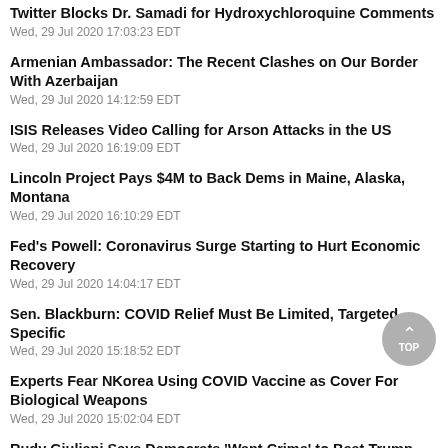Twitter Blocks Dr. Samadi for Hydroxychloroquine Comments
Wed, 29 Jul 2020 17:03:23 EDT
Armenian Ambassador: The Recent Clashes on Our Border With Azerbaijan
Wed, 29 Jul 2020 14:12:59 EDT
ISIS Releases Video Calling for Arson Attacks in the US
Wed, 29 Jul 2020 16:19:09 EDT
Lincoln Project Pays $4M to Back Dems in Maine, Alaska, Montana
Wed, 29 Jul 2020 16:10:29 EDT
Fed's Powell: Coronavirus Surge Starting to Hurt Economic Recovery
Wed, 29 Jul 2020 14:04:17 EDT
Sen. Blackburn: COVID Relief Must Be Limited, Targeted, Specific
Wed, 29 Jul 2020 15:18:52 EDT
Experts Fear NKorea Using COVID Vaccine as Cover For Biological Weapons
Wed, 29 Jul 2020 15:02:04 EDT
Rudy Giuliani Says Democrats 'Want Crime' to Beat Trump
Wed, 29 Jul 2020 14:16:44 EDT